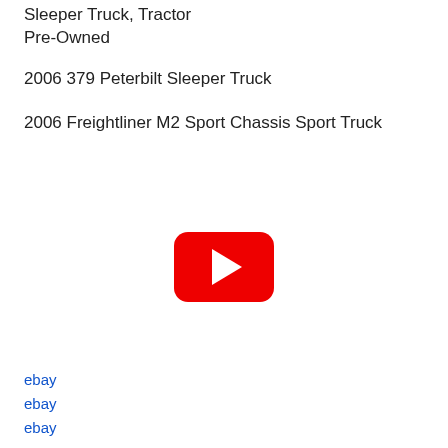Sleeper Truck, Tractor
Pre-Owned
2006 379 Peterbilt Sleeper Truck
2006 Freightliner M2 Sport Chassis Sport Truck
[Figure (screenshot): YouTube play button icon (red rounded rectangle with white play triangle)]
ebay
ebay
ebay